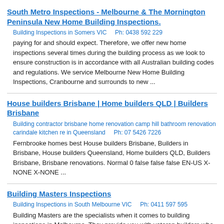South Metro Inspections - Melbourne & The Mornington Peninsula New Home Building Inspections.
Building Inspections in Somers VIC    Ph: 0438 592 229
paying for and should expect. Therefore, we offer new home inspections several times during the building process as we look to ensure construction is in accordance with all Australian building codes and regulations. We service Melbourne New Home Building Inspections, Cranbourne and surrounds to new ...
House builders Brisbane | Home builders QLD | Builders Brisbane
Building contractor brisbane home renovation camp hill bathroom renovation carindale kitchen re in Queensland    Ph: 07 5426 7226
Fernbrooke homes best House builders Brisbane, Builders in Brisbane, House builders Queensland, Home builders QLD, Builders Brisbane, Brisbane renovations. Normal 0 false false false EN-US X-NONE X-NONE ...
Building Masters Inspections
Building Inspections in South Melbourne VIC    Ph: 0411 597 595
Building Masters are the specialists when it comes to building inspections in Melbourne. They provide you with veteran builders who have extensive industry experience to ensure your home or potential purchase is checked right; from top to bottom. Building Inspections, Building Masters Inspections ...